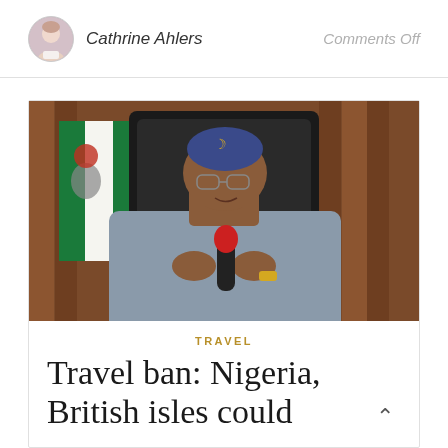Cathrine Ahlers
Comments Off
[Figure (photo): A man in a blue traditional Nigerian cap and grey traditional attire sits in a leather chair speaking into a microphone, with the Nigerian flag visible to the left and wooden paneling in the background.]
TRAVEL
Travel ban: Nigeria, British isles could